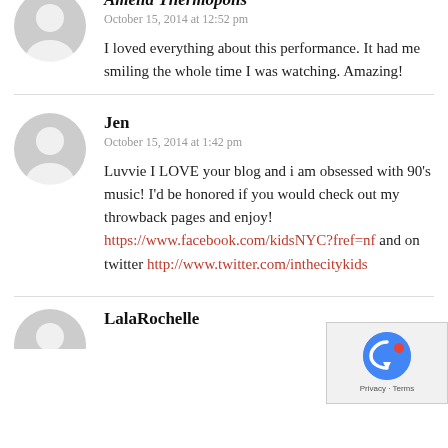[Figure (illustration): Gray default avatar icon for first commenter (Amelia Thermopolis), partially visible at top]
Amelia Thermopolis
October 15, 2014 at 12:52 pm
I loved everything about this performance. It had me smiling the whole time I was watching. Amazing!
[Figure (illustration): Gray default avatar icon for commenter Jen]
Jen
October 15, 2014 at 1:42 pm
Luvvie I LOVE your blog and i am obsessed with 90's music! I'd be honored if you would check out my throwback pages and enjoy! https://www.facebook.com/kidsNYC?fref=nf and on twitter http://www.twitter.com/inthecitykids
[Figure (illustration): Gray default avatar icon for commenter LalaRochelle, partially visible at bottom]
LalaRochelle
[Figure (screenshot): reCAPTCHA privacy overlay widget in bottom right corner]